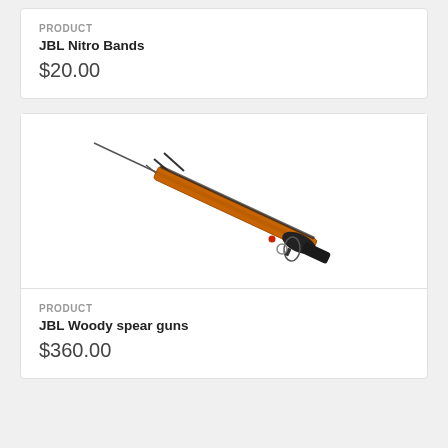PRODUCT
JBL Nitro Bands
$20.00
[Figure (photo): JBL Woody spear gun shown diagonally, orange wooden stock with black metal parts and spear tip]
PRODUCT
JBL Woody spear guns
$360.00